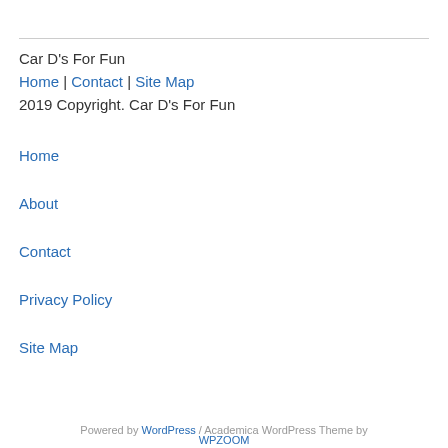Car D's For Fun
Home | Contact | Site Map
2019 Copyright. Car D's For Fun
Home
About
Contact
Privacy Policy
Site Map
Powered by WordPress / Academica WordPress Theme by WPZOOM